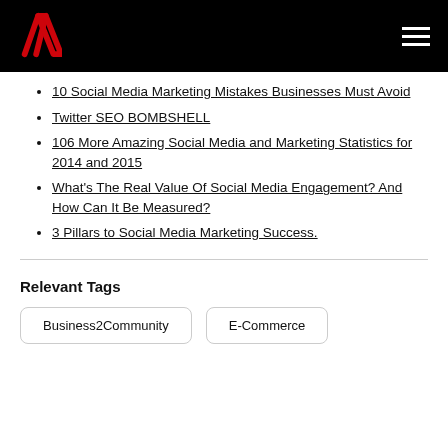Verizon logo and navigation menu
10 Social Media Marketing Mistakes Businesses Must Avoid
Twitter SEO BOMBSHELL
106 More Amazing Social Media and Marketing Statistics for 2014 and 2015
What's The Real Value Of Social Media Engagement? And How Can It Be Measured?
3 Pillars to Social Media Marketing Success.
Relevant Tags
Business2Community | E-Commerce